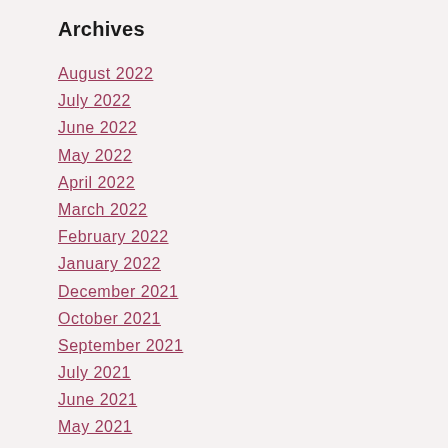Archives
August 2022
July 2022
June 2022
May 2022
April 2022
March 2022
February 2022
January 2022
December 2021
October 2021
September 2021
July 2021
June 2021
May 2021
April 2021